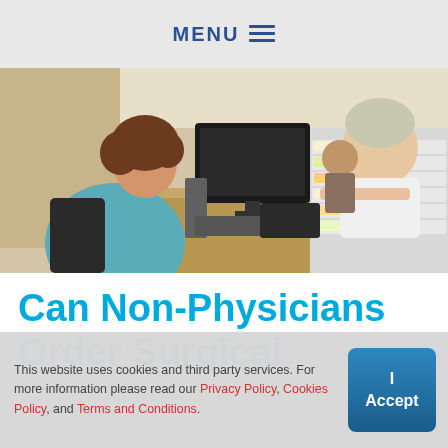MENU ≡
[Figure (photo): Hospital reception desk scene with a nurse in teal scrubs sitting at a computer, another staff member at the counter, and a man in background; paper organizer shelves visible on the right.]
Can Non-Physicians Order Surgical
This website uses cookies and third party services. For more information please read our Privacy Policy, Cookies Policy, and Terms and Conditions.